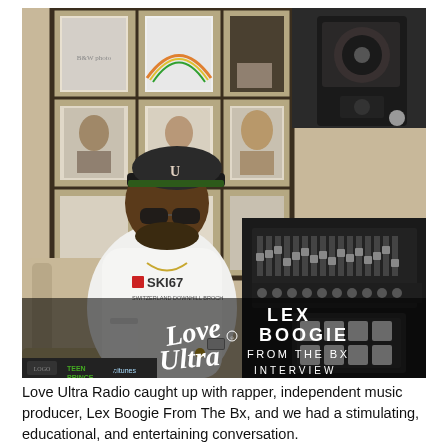[Figure (photo): A large man wearing a white SKI67 sweatshirt, dark sunglasses, and a black baseball cap sits in a recording studio. Behind him is a bookshelf filled with framed photos and album covers. To his right is a mixing console and studio monitor speakers. In the lower right corner text reads 'LEX BOOGIE FROM THE BX INTERVIEW' and cursive script reads 'Love Ultra'. Small logos appear at the bottom left.]
Love Ultra Radio caught up with rapper, independent music producer, Lex Boogie From The Bx, and we had a stimulating, educational, and entertaining conversation.